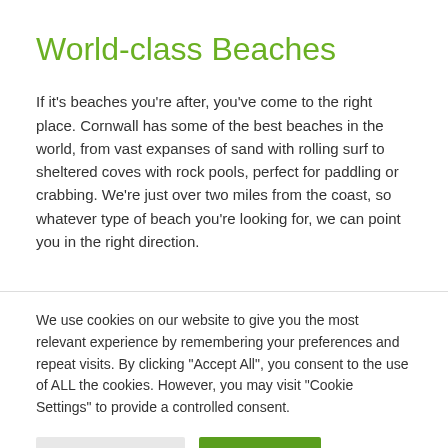World-class Beaches
If it's beaches you're after, you've come to the right place. Cornwall has some of the best beaches in the world, from vast expanses of sand with rolling surf to sheltered coves with rock pools, perfect for paddling or crabbing. We're just over two miles from the coast, so whatever type of beach you're looking for, we can point you in the right direction.
We use cookies on our website to give you the most relevant experience by remembering your preferences and repeat visits. By clicking "Accept All", you consent to the use of ALL the cookies. However, you may visit "Cookie Settings" to provide a controlled consent.